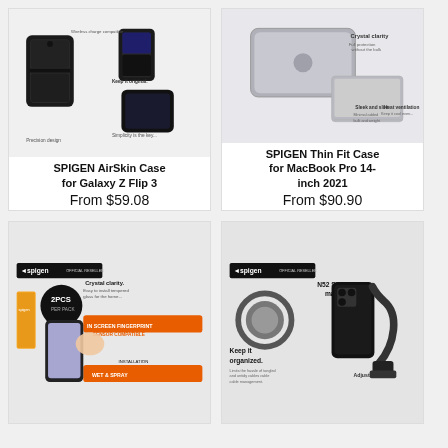[Figure (photo): SPIGEN AirSkin Case for Galaxy Z Flip 3 product packaging image showing phone cases]
SPIGEN AirSkin Case for Galaxy Z Flip 3
From $59.08
[Figure (photo): SPIGEN Thin Fit Case for MacBook Pro 14-inch 2021 product image showing clear laptop case]
SPIGEN Thin Fit Case for MacBook Pro 14-inch 2021
From $90.90
[Figure (photo): Spigen Official Reseller screen protector product packaging with 2PCS per pack, IN-SCREEN FINGERPRINT SENSOR COMPATIBLE, WET & SPRAY INSTALLATION labels]
[Figure (photo): Spigen Official Reseller N52 Strong magnet car mount product image showing phone holder with adjustable base, Keep it organized text]